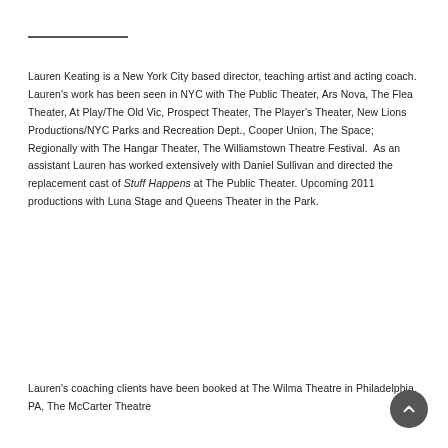Lauren Keating is a New York City based director, teaching artist and acting coach.  Lauren's work has been seen in NYC with The Public Theater, Ars Nova, The Flea Theater, At Play/The Old Vic, Prospect Theater, The Player's Theater, New Lions Productions/NYC Parks and Recreation Dept., Cooper Union, The Space;  Regionally with The Hangar Theater, The Williamstown Theatre Festival.  As an assistant Lauren has worked extensively with Daniel Sullivan and directed the replacement cast of Stuff Happens at The Public Theater. Upcoming 2011 productions with Luna Stage and Queens Theater in the Park.
Lauren's coaching clients have been booked at The Wilma Theatre in Philadelphia, PA, The McCarter Theatre